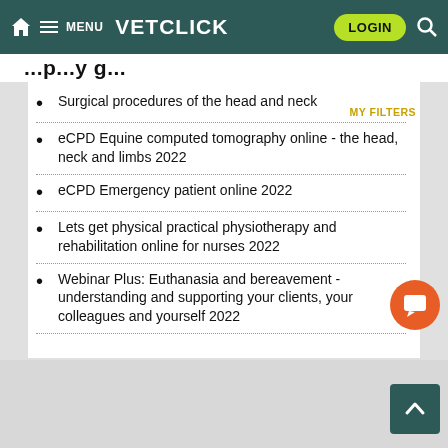VETCLICK — MENU | LOGIN
(partial heading text visible)
Surgical procedures of the head and neck
eCPD Equine computed tomography online - the head, neck and limbs 2022
eCPD Emergency patient online 2022
Lets get physical practical physiotherapy and rehabilitation online for nurses 2022
Webinar Plus: Euthanasia and bereavement - understanding and supporting your clients, your colleagues and yourself 2022